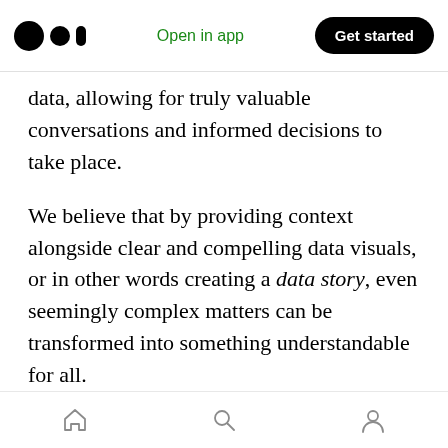Medium logo | Open in app | Get started
data, allowing for truly valuable conversations and informed decisions to take place.
We believe that by providing context alongside clear and compelling data visuals, or in other words creating a data story, even seemingly complex matters can be transformed into something understandable for all.
If our interpretation of data stories conveying information in an actionable way sounds interesting to you, then we would love to connect! Drop us an email to discuss more on
Home | Search | Profile